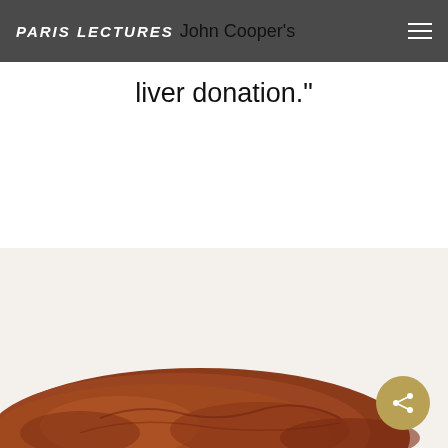PARIS LECTURES John Cooper's liver donation."
John Cooper's liver donation."
[Figure (photo): Close-up photograph of a human liver organ against a light background, showing the reddish-brown surface and texture of the organ.]